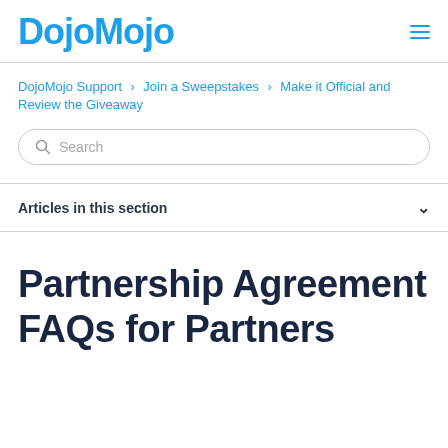DOJOMOJO
DojoMojo Support › Join a Sweepstakes › Make it Official and Review the Giveaway
Search
Articles in this section
Partnership Agreement FAQs for Partners